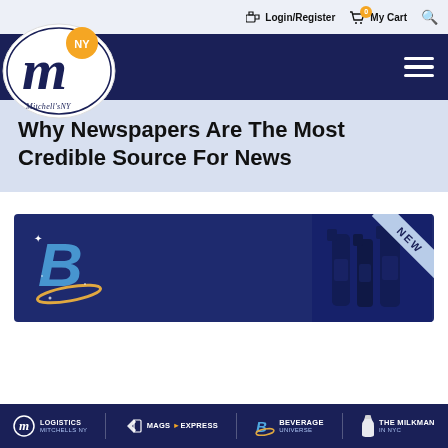Login/Register  My Cart  [search]
[Figure (logo): Mitchell's NY logo — cursive M with NY orange badge and Mitchell's NY text]
Why Newspapers Are The Most Credible Source For News
[Figure (logo): Dark navy product card with Beverage Universe B logo and NEW ribbon badge, bottles on right side]
LOGISTICS MITCHELLS NY  MAGS EXPRESS  BEVERAGE UNIVERSE  THE MILKMAN IN NYC